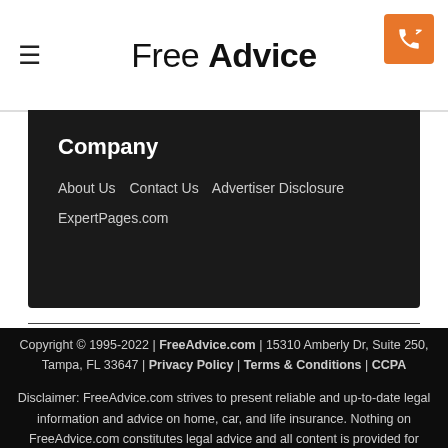Free Advice
Company
About Us   Contact Us   Advertiser Disclosure
ExpertPages.com
Copyright © 1995-2022 | FreeAdvice.com | 15310 Amberly Dr, Suite 250, Tampa, FL 33647 | Privacy Policy | Terms & Conditions | CCPA
Disclaimer: FreeAdvice.com strives to present reliable and up-to-date legal information and advice on home, car, and life insurance. Nothing on FreeAdvice.com constitutes legal advice and all content is provided for informational purposes only. Insurance information may be different than what you see when you visit an insurance provider, insurance agency, or insurance company website. All legal